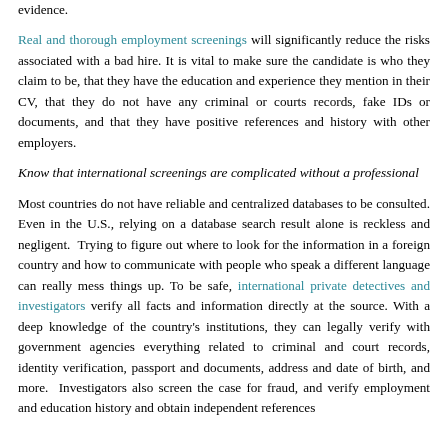evidence.
Real and thorough employment screenings will significantly reduce the risks associated with a bad hire. It is vital to make sure the candidate is who they claim to be, that they have the education and experience they mention in their CV, that they do not have any criminal or courts records, fake IDs or documents, and that they have positive references and history with other employers.
Know that international screenings are complicated without a professional
Most countries do not have reliable and centralized databases to be consulted. Even in the U.S., relying on a database search result alone is reckless and negligent. Trying to figure out where to look for the information in a foreign country and how to communicate with people who speak a different language can really mess things up. To be safe, international private detectives and investigators verify all facts and information directly at the source. With a deep knowledge of the country's institutions, they can legally verify with government agencies everything related to criminal and court records, identity verification, passport and documents, address and date of birth, and more. Investigators also screen the case for fraud, and verify employment and education history and obtain independent references